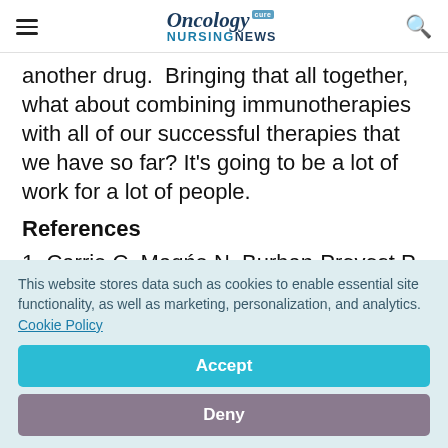Oncology Nursing News
another drug.  Bringing that all together, what about combining immunotherapies with all of our successful therapies that we have so far? It's going to be a lot of work for a lot of people.
References
1. Carrie C, Mag&#324;e N, Burban-Provost P, et
This website stores data such as cookies to enable essential site functionality, as well as marketing, personalization, and analytics. Cookie Policy
Accept
Deny